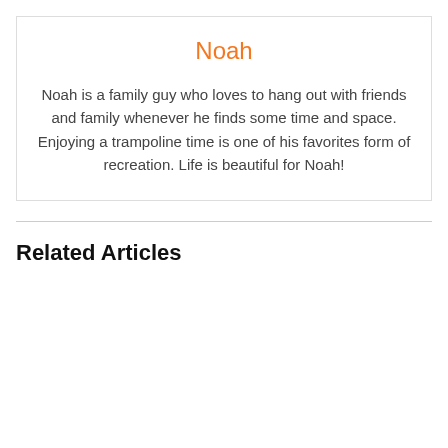Noah
Noah is a family guy who loves to hang out with friends and family whenever he finds some time and space. Enjoying a trampoline time is one of his favorites form of recreation. Life is beautiful for Noah!
Related Articles